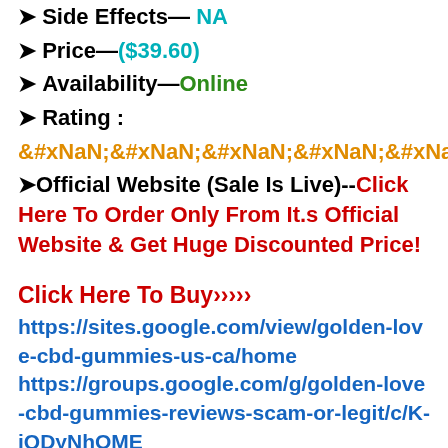➤ Side Effects— NA
➤ Price—($39.60)
➤ Availability—Online
➤ Rating :
&#xNaN;&#xNaN;&#xNaN;&#xNaN;&#xNaN;
➤Official Website (Sale Is Live)--Click Here To Order Only From It.s Official Website & Get Huge Discounted Price!
Click Here To Buy›››››
https://sites.google.com/view/golden-love-cbd-gummies-us-ca/home https://groups.google.com/g/golden-love-cbd-gummies-reviews-scam-or-legit/c/K-iQDyNhOME https://promosimple.com/giveaways